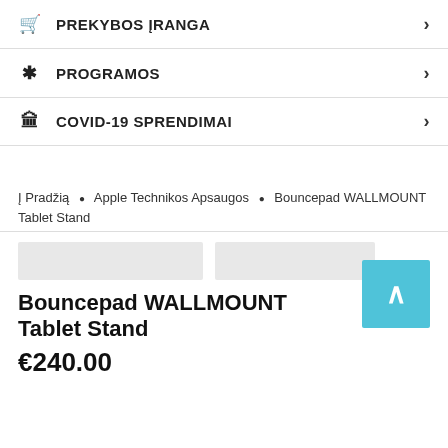PREKYBOS ĮRANGA
PROGRAMOS
COVID-19 SPRENDIMAI
Į Pradžią • Apple Technikos Apsaugos • Bouncepad WALLMOUNT Tablet Stand
Bouncepad WALLMOUNT Tablet Stand
€240.00